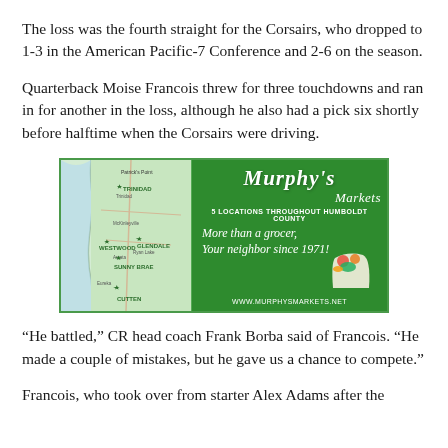The loss was the fourth straight for the Corsairs, who dropped to 1-3 in the American Pacific-7 Conference and 2-6 on the season.
Quarterback Moise Francois threw for three touchdowns and ran in for another in the loss, although he also had a pick six shortly before halftime when the Corsairs were driving.
[Figure (advertisement): Murphy's Markets advertisement showing a map of Humboldt County locations on the left (Trinidad, Westwood, Glendale, Sunny Brae, Cutten) and green background on the right with Murphy's Markets logo, '5 LOCATIONS THROUGHOUT HUMBOLDT COUNTY', slogan 'More than a grocer, Your neighbor since 1971!' and website www.murphysmarkets.net]
“He battled,” CR head coach Frank Borba said of Francois. “He made a couple of mistakes, but he gave us a chance to compete.”
Francois, who took over from starter Alex Adams after the